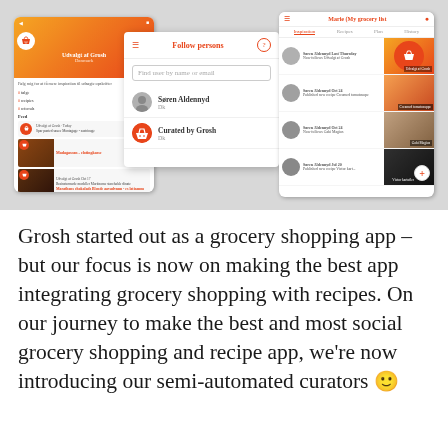[Figure (screenshot): Three mobile app screenshots of Grosh grocery/recipe app showing a user profile screen, a 'Follow persons' search screen, and an inspiration/social feed screen]
Grosh started out as a grocery shopping app – but our focus is now on making the best app integrating grocery shopping with recipes. On our journey to make the best and most social grocery shopping and recipe app, we're now introducing our semi-automated curators 🙂